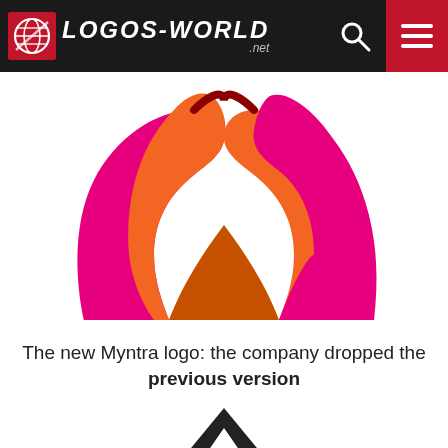LOGOS-WORLD.net
[Figure (logo): Myntra brand logo — stylized letter M made of magenta and orange curved shapes on white background]
The new Myntra logo: the company dropped the previous version
[Figure (logo): Old Myntra logo — angular letter M in black/dark on white background, partially visible]